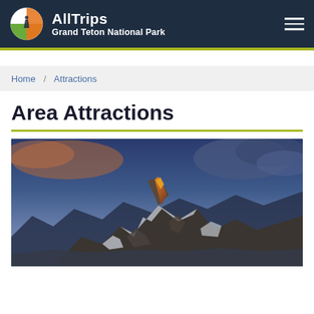AllTrips — Grand Teton National Park
Home / Attractions
Area Attractions
[Figure (photo): Mountain peak of Grand Teton at dusk/dawn with orange alpenglow on snow-covered rocky summit against a blue-purple cloudy sky]